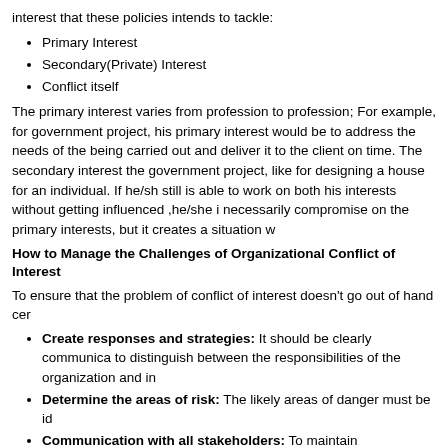interest that these policies intends to tackle:
Primary Interest
Secondary(Private) Interest
Conflict itself
The primary interest varies from profession to profession; For example, for government project, his primary interest would be to address the needs of the project being carried out and deliver it to the client on time. The secondary interest is outside the government project, like for designing a house for an individual. If he/she still is able to work on both his interests without getting influenced ,he/she is not necessarily compromise on the primary interests, but it creates a situation where...
How to Manage the Challenges of Organizational Conflict of Interest
To ensure that the problem of conflict of interest doesn't go out of hand cer...
Create responses and strategies: It should be clearly communicated to distinguish between the responsibilities of the organization and in...
Determine the areas of risk: The likely areas of danger must be id...
Communication with all stakeholders: To maintain transparency the perception of a conflict not being managed properly doesn't aris...
Educate the staff and managers: It is important that all the employees are aware of the policies on conflict of interest.
Enforce the policy: All the policies once adopted must be enforced...
Review the policy: The policies adopted must be constantly review...
It is in the best interests of all to stay away from any kind of conflict of inter...
Association of Construction & Developmen...